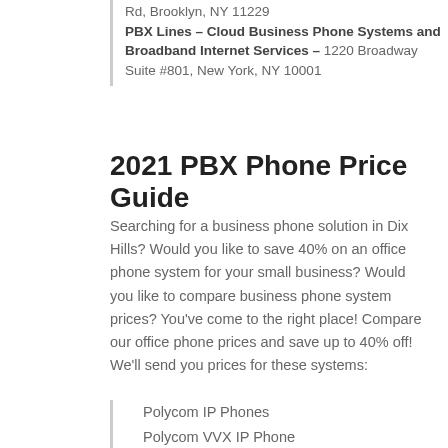Rd, Brooklyn, NY 11229 PBX Lines – Cloud Business Phone Systems and Broadband Internet Services – 1220 Broadway Suite #801, New York, NY 10001
2021 PBX Phone Price Guide
Searching for a business phone solution in Dix Hills? Would you like to save 40% on an office phone system for your small business? Would you like to compare business phone system prices? You've come to the right place! Compare our office phone prices and save up to 40% off! We'll send you prices for these systems:
Polycom IP Phones
Polycom VVX IP Phone